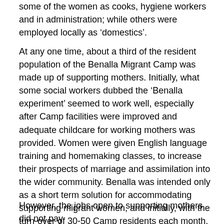some of the women as cooks, hygiene workers and in administration; while others were employed locally as 'domestics'.
At any one time, about a third of the resident population of the Benalla Migrant Camp was made up of supporting mothers. Initially, what some social workers dubbed the 'Benalla experiment' seemed to work well, especially after Camp facilities were improved and adequate childcare for working mothers was provided. Women were given English language training and homemaking classes, to increase their prospects of marriage and assimilation into the wider community. Benalla was intended only as a short term solution for accommodating supporting migrant women, and initially, with the turn-over of 30-50 Camp residents each month, the system seemed satisfactory.
However, the jobs open to supporting mothers did not pay